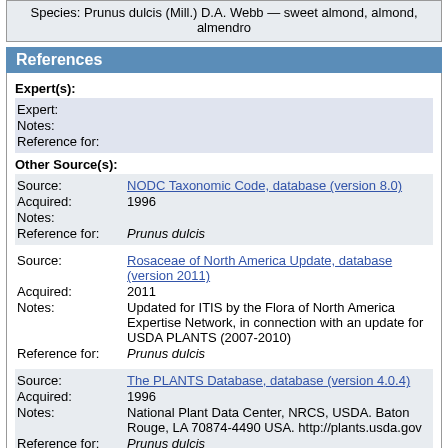Species: Prunus dulcis (Mill.) D.A. Webb — sweet almond, almond, almendro
References
Expert(s):
Expert:
Notes:
Reference for:
Other Source(s):
Source: NODC Taxonomic Code, database (version 8.0)
Acquired: 1996
Notes:
Reference for: Prunus dulcis
Source: Rosaceae of North America Update, database (version 2011)
Acquired: 2011
Notes: Updated for ITIS by the Flora of North America Expertise Network, in connection with an update for USDA PLANTS (2007-2010)
Reference for: Prunus dulcis
Source: The PLANTS Database, database (version 4.0.4)
Acquired: 1996
Notes: National Plant Data Center, NRCS, USDA. Baton Rouge, LA 70874-4490 USA. http://plants.usda.gov
Reference for: Prunus dulcis
Source: The PLANTS Database, database (version 5.1.1)